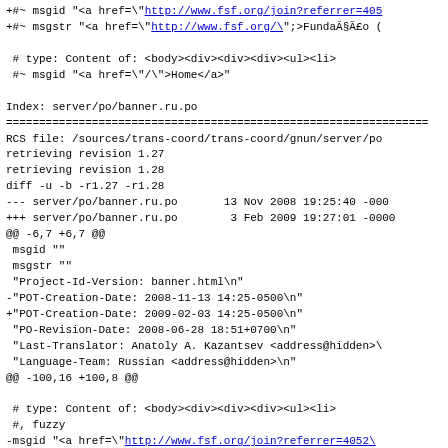+#~ msgid "<a href=\"http://www.fsf.org/join?referrer=405
url truncated
+#~ msgstr "<a href=\"http://www.fsf.org/\";>FundaÃ§Ã£o (
Index: server/po/banner.ru.po
====
RCS file: /sources/trans-coord/trans-coord/gnun/server/po
retrieving revision 1.27
retrieving revision 1.28
diff -u -b -r1.27 -r1.28
--- server/po/banner.ru.po       13 Nov 2008 19:25:40 -000
+++ server/po/banner.ru.po        3 Feb 2009 19:27:01 -0000
@@ -6,7 +6,7 @@
 msgid ""
 msgstr ""
 "Project-Id-Version: banner.html\n"
-"POT-Creation-Date: 2008-11-13 14:25-0500\n"
+"POT-Creation-Date: 2009-02-03 14:25-0500\n"
 "PO-Revision-Date: 2008-06-28 18:51+0700\n"
 "Last-Translator: Anatoly A. Kazantsev <address@hidden>\
 "Language-Team: Russian <address@hidden>\n"
@@ -100,16 +100,8 @@

 # type: Content of: <body><div><div><div><ul><li>
 #, fuzzy
-msgid "<a href=\"http://www.fsf.org/join?referrer=4052\
url
-msgstr "<a href=\"http://shop.fsf.org/\";>ÐÐ°Ð³Ð°Ð·Ð Ð
url
-